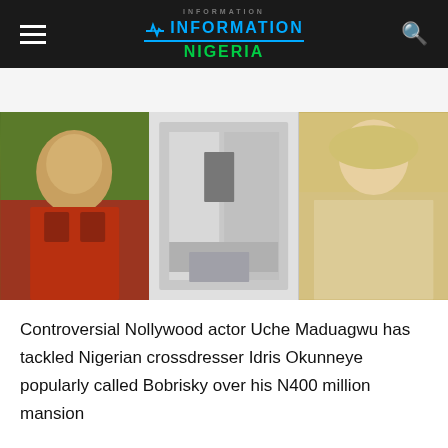Information Nigeria
[Figure (photo): Three-panel image: left panel shows a man (Uche Maduagwu) in a red floral shirt with sunglasses; center panel shows a modern white mansion/building exterior; right panel shows a woman (Bobrisky) in white lace outfit and silver headwrap.]
Controversial Nollywood actor Uche Maduagwu has tackled Nigerian crossdresser Idris Okunneye popularly called Bobrisky over his N400 million mansion